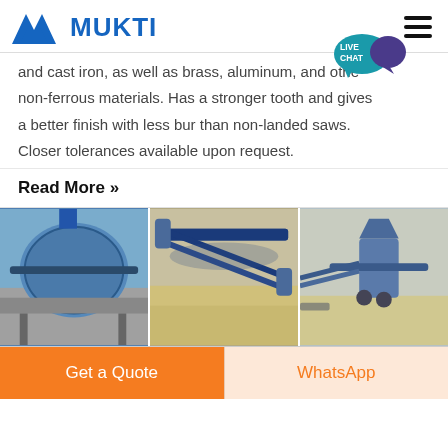MUKTI
and cast iron, as well as brass, aluminum, and other non-ferrous materials. Has a stronger tooth and gives a better finish with less bur than non-landed saws. Closer tolerances available upon request.
Read More »
[Figure (photo): Three industrial machinery photos side by side: a large blue rotating drum/ball mill, a conveyor belt system over gravel/stone, and a cone crusher with conveyor belt at a stone quarry.]
Get a Quote
WhatsApp